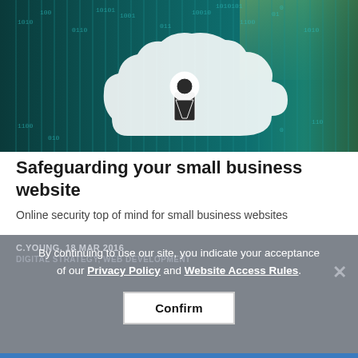[Figure (photo): Digital security concept photo: a cloud icon with a keyhole/padlock on a dark teal background with binary code and digital grid lines]
Safeguarding your small business website
Online security top of mind for small business websites
C.YOUNG, 18 MAR 2016
DIGITAL STRATEGY, WEB DEVELOPMENT
By continuing to use our site, you indicate your acceptance of our Privacy Policy and Website Access Rules.
Confirm